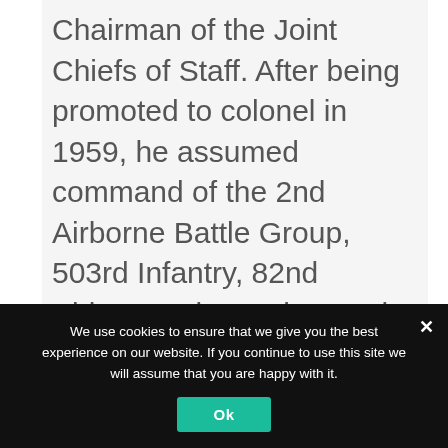Chairman of the Joint Chiefs of Staff. After being promoted to colonel in 1959, he assumed command of the 2nd Airborne Battle Group, 503rd Infantry, 82nd Airborne Div., and served as G-3 of I-Corps in Korea. In 1966, Blanchard went to Vietnam and served as Asst. Division Commander, 1st Cavalry Div. (Airmobile) and later as Chief of Staff, I Field Force,
We use cookies to ensure that we give you the best experience on our website. If you continue to use this site we will assume that you are happy with it.